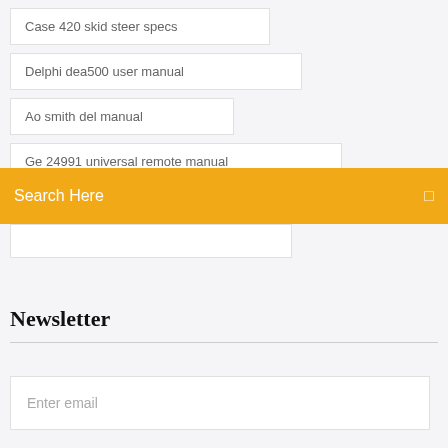Case 420 skid steer specs
Delphi dea500 user manual
Ao smith del manual
Ge 24991 universal remote manual
Search Here
Newsletter
Enter email